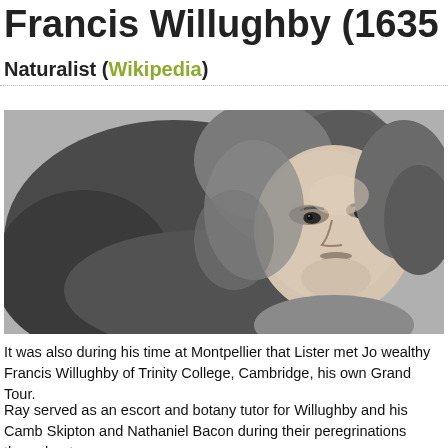Francis Willughby (1635
Naturalist (Wikipedia)
[Figure (photo): Black and white engraved portrait of Francis Willughby, showing a young man with long curly hair and a small mustache, facing slightly right.]
It was also during his time at Montpellier that Lister met Jo wealthy Francis Willughby of Trinity College, Cambridge, his own Grand Tour.
Ray served as an escort and botany tutor for Willughby and his Camb Skipton and Nathaniel Bacon during their peregrinations throughout